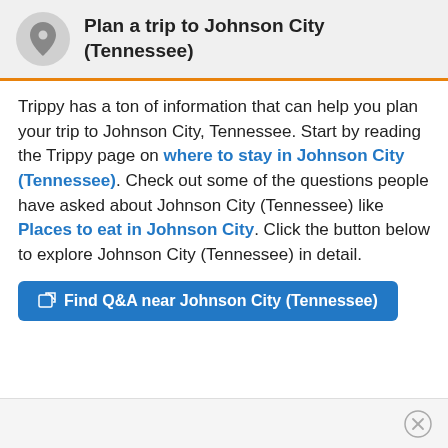Plan a trip to Johnson City (Tennessee)
Trippy has a ton of information that can help you plan your trip to Johnson City, Tennessee. Start by reading the Trippy page on where to stay in Johnson City (Tennessee). Check out some of the questions people have asked about Johnson City (Tennessee) like Places to eat in Johnson City. Click the button below to explore Johnson City (Tennessee) in detail.
Find Q&A near Johnson City (Tennessee)